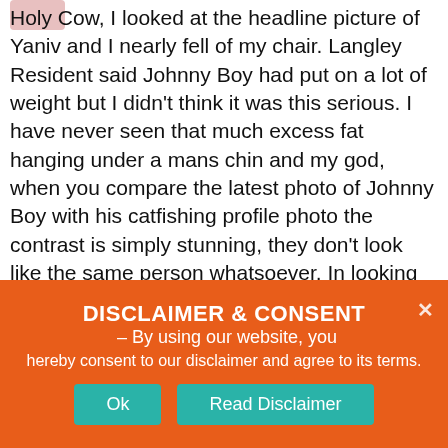Holy Cow, I looked at the headline picture of Yaniv and I nearly fell of my chair. Langley Resident said Johnny Boy had put on a lot of weight but I didn't think it was this serious. I have never seen that much excess fat hanging under a mans chin and my god, when you compare the latest photo of Johnny Boy with his catfishing profile photo the contrast is simply stunning, they don't look like the same person whatsoever. In looking at the latest photo I have never ever seen a more ugly person at the age he is, his fat head can only be described as massive and his make-
DISCLAIMER & CONSENT – By using our website, you hereby consent to our disclaimer and agree to its terms.